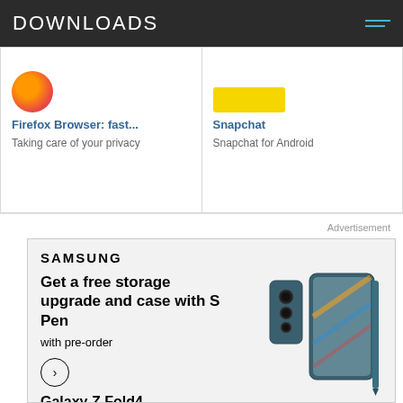DOWNLOADS
Firefox Browser: fast...
Taking care of your privacy
Snapchat
Snapchat for Android
Advertisement
[Figure (screenshot): Samsung advertisement showing Galaxy Z Fold4 with text: Get a free storage upgrade and case with S Pen with pre-order. Galaxy Z Fold4. See terms and conditions. S Pen compatible.]